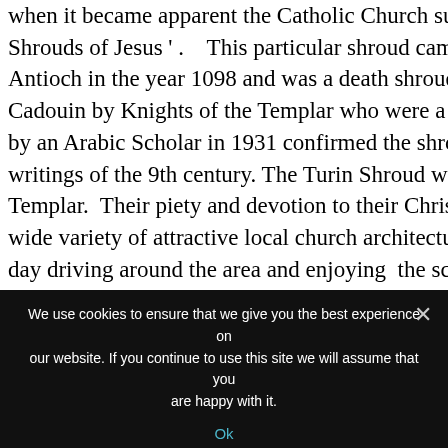when it became apparent the Catholic Church supported the existence of Shrouds of Jesus ' .    This particular shroud came from the fall of the Antioch in the year 1098 and was a death shroud, but not of Jesus. Th... Cadouin by Knights of the Templar who were a very influential  in an... by an Arabic Scholar in 1931 confirmed the shroud was engraved with... writings of the 9th century. The Turin Shroud was also brought to Tur... Templar.  Their piety and devotion to their Christian beliefs was the st... wide variety of attractive local church architecture  creates an opportu... day driving around the area and enjoying  the scenery of  the villages.... villages are almost empty with no school or boulangerie, yet judging b... church, in past years these villages supported a large and wealthy loca...
We use cookies to ensure that we give you the best experience on our website. If you continue to use this site we will assume that you are happy with it.
Ok